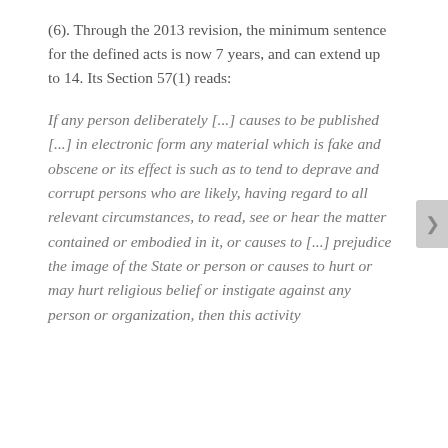(6). Through the 2013 revision, the minimum sentence for the defined acts is now 7 years, and can extend up to 14. Its Section 57(1) reads:
If any person deliberately [...] causes to be published [...] in electronic form any material which is fake and obscene or its effect is such as to tend to deprave and corrupt persons who are likely, having regard to all relevant circumstances, to read, see or hear the matter contained or embodied in it, or causes to [...] prejudice the image of the State or person or causes to hurt or may hurt religious belief or instigate against any person or organization, then this activity